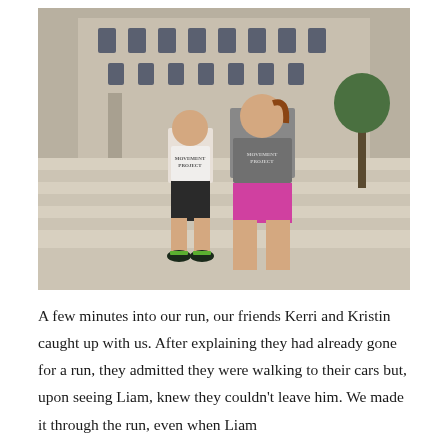[Figure (photo): A boy and a woman standing on white marble steps in front of a large stone building. The boy is wearing a white t-shirt with 'Movement Project' text, black shorts, and green sneakers. The woman is wearing a gray tank top, bright pink/purple shorts, and has her hair in a ponytail. Both are posing with hands on hips.]
A few minutes into our run, our friends Kerri and Kristin caught up with us. After explaining they had already gone for a run, they admitted they were walking to their cars but, upon seeing Liam, knew they couldn't leave him. We made it through the run, even when Liam